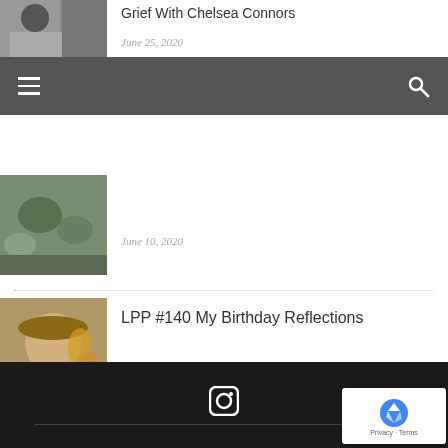[Figure (photo): Thumbnail photo of a person with plants, partially visible at top]
Grief With Chelsea Connors
June 25, 2020
[Figure (screenshot): Website navigation bar with hamburger menu icon and search icon on dark grey background]
[Figure (photo): Thumbnail photo of hands with green plants]
June 10, 2020
LPP #140 My Birthday Reflections
[Figure (photo): Thumbnail photo of a smiling woman wearing a brown hat with orange flowers]
April 29, 2020
Instagram icon | Privacy · Terms